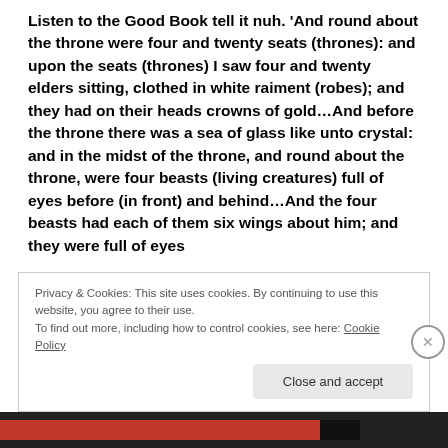Listen to the Good Book tell it nuh. 'And round about the throne were four and twenty seats (thrones): and upon the seats (thrones) I saw four and twenty elders sitting, clothed in white raiment (robes); and they had on their heads crowns of gold…And before the throne there was a sea of glass like unto crystal: and in the midst of the throne, and round about the throne, were four beasts (living creatures) full of eyes before (in front) and behind…And the four beasts had each of them six wings about him; and they were full of eyes
Privacy & Cookies: This site uses cookies. By continuing to use this website, you agree to their use.
To find out more, including how to control cookies, see here: Cookie Policy